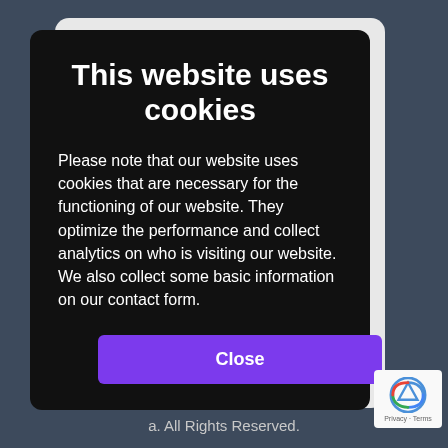This website uses cookies
Please note that our website uses cookies that are necessary for the functioning of our website. They optimize the performance and collect analytics on who is visiting our website. We also collect some basic information on our contact form.
Close
a. All Rights Reserved.